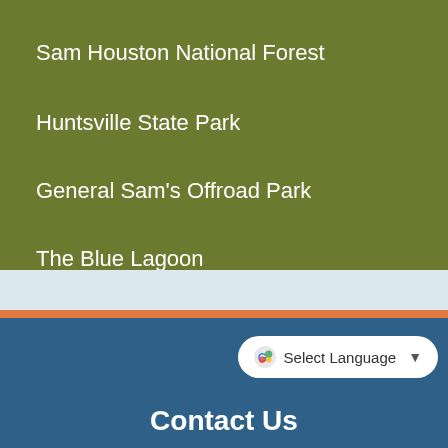Sam Houston National Forest
Huntsville State Park
General Sam's Offroad Park
The Blue Lagoon
Select Language
Contact Us